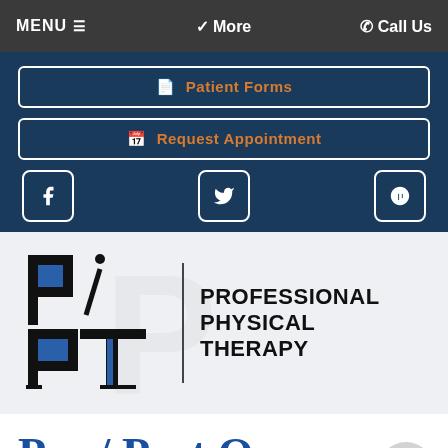MENU ☰    ❯ More    ✆ Call Us
📄 Patient Forms
📅 Request Appointment
[Figure (logo): Professional Physical Therapy logo with PPT initials and full name]
Pre / Post Op Rehab